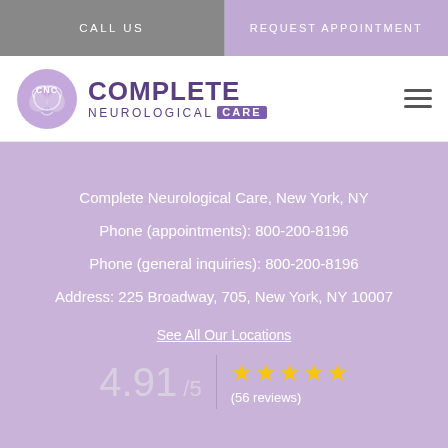CALL US | REQUEST APPOINTMENT
[Figure (logo): Complete Neurological Care logo with brain icon and CNC text]
Complete Neurological Care, New York, NY
Phone (appointments): 800-200-8196
Phone (general inquiries): 800-200-8196
Address: 225 Broadway, 705, New York, NY 10007
See All Our Locations
4.91 / 5  ★★★★★  (56 reviews)